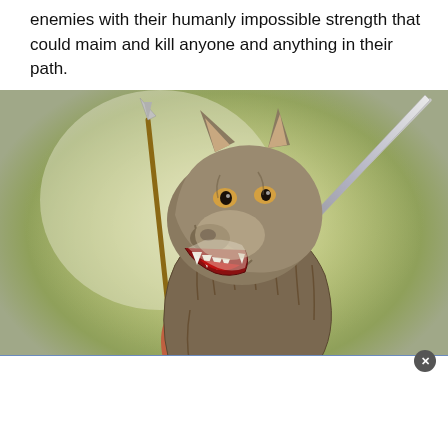enemies with their humanly impossible strength that could maim and kill anyone and anything in their path.
[Figure (illustration): Illustration of a werewolf-like creature — a muscular humanoid figure wearing a wolf pelt over its head and body, holding a spear in one outstretched hand while a sword pierces through the wolf head from behind. The background is a soft greenish-yellow painterly landscape.]